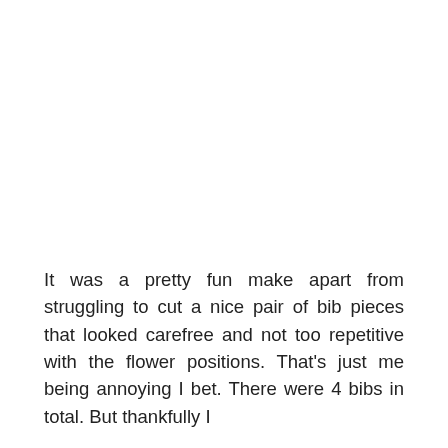It was a pretty fun make apart from struggling to cut a nice pair of bib pieces that looked carefree and not too repetitive with the flower positions. That's just me being annoying I bet. There were 4 bibs in total. But thankfully I